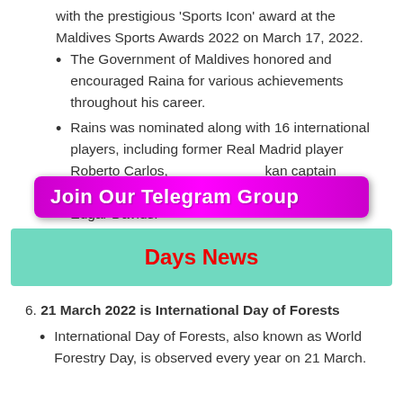with the prestigious ‘Sports Icon’ award at the Maldives Sports Awards 2022 on March 17, 2022.
The Government of Maldives honored and encouraged Raina for various achievements throughout his career.
Rains was nominated along with 16 international players, including former Real Madrid player Roberto Carlos, [obscured] kan captain [obscured] otball legend Edgar Davids.
[Figure (infographic): Purple banner overlay reading 'Join Our Telegram Group']
Days News
6. 21 March 2022 is International Day of Forests
International Day of Forests, also known as World Forestry Day, is observed every year on 21 March.